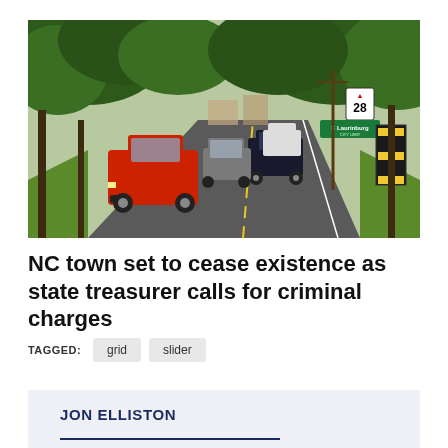[Figure (photo): A road scene showing multiple vehicles including a red pickup truck in the foreground driving on a two-lane road lined with trees. Road signs including a speed limit 28 sign and a green town sign reading 'E Laurinburg' are visible on the right side, along with yellow and black chevron warning signs.]
NC town set to cease existence as state treasurer calls for criminal charges
TAGGED: grid slider
JON ELLISTON